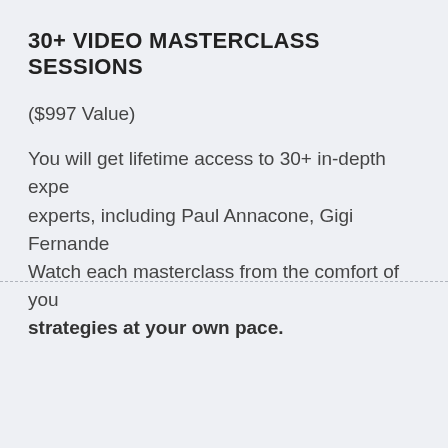30+ VIDEO MASTERCLASS SESSIONS
($997 Value)
You will get lifetime access to 30+ in-depth experts, including Paul Annacone, Gigi Fernande... Watch each masterclass from the comfort of you... strategies at your own pace.